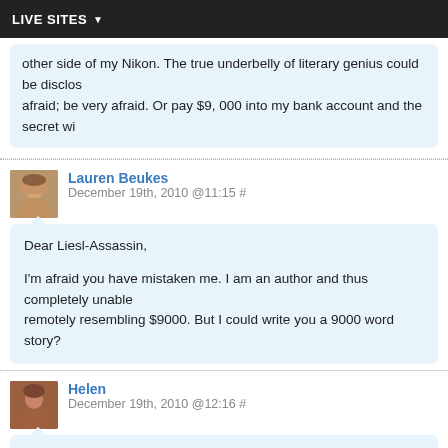LIVE SITES
other side of my Nikon. The true underbelly of literary genius could be disclos... afraid; be very afraid. Or pay $9, 000 into my bank account and the secret wi...
Lauren Beukes
December 19th, 2010 @11:15 #
Dear Liesl-Assassin,

I'm afraid you have mistaken me. I am an author and thus completely unable... remotely resembling $9000. But I could write you a 9000 word story?
Helen
December 19th, 2010 @12:16 #
Liesl and Lauren, you have me HOWLING. Brava.

Why don't scammers use proofreaders? This has always puzzled me. I have e... Chairman of Barclays Bank, UK, would start a letter "Deer Freind".